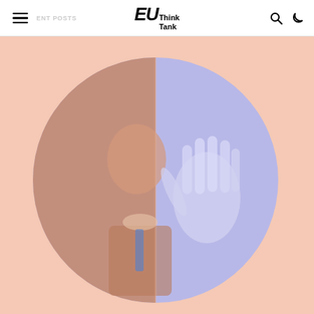EU Think Tank — RECENT POSTS
[Figure (illustration): A circular artistic illustration on a peach/salmon background showing a double-exposed image: left half shows a muted terracotta-toned portrait of a young man in a suit and tie, right half shows a blue/periwinkle-toned image of an open hand raised in a stop gesture, on a purple-blue background circle. The circular image is centered on a light peach background.]